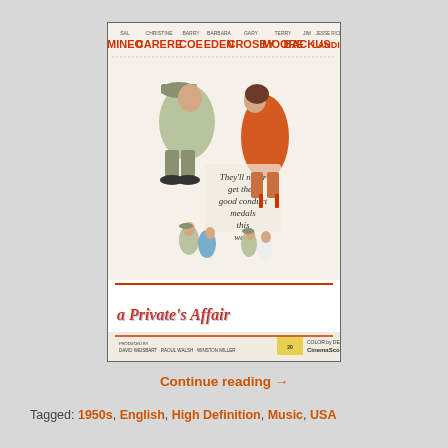[Figure (photo): Movie poster for 'A Private's Affair' (1959). Shows a soldier in uniform leaning down to kiss a woman in an orange dress. Text at top lists cast: Sal Mineo, Christine Carere, Barry Coe, Barbara Eden, Gary Crosby, Terry Moore, Jim Backus, Jesse White Landis. Center text reads 'They'll never get their good conduct medals this way!' Bottom shows title 'a Private's Affair' in large red letters, with production credits and CinemaScope/Color by De Luxe branding.]
Continue reading →
Tagged: 1950s, English, High Definition, Music, USA